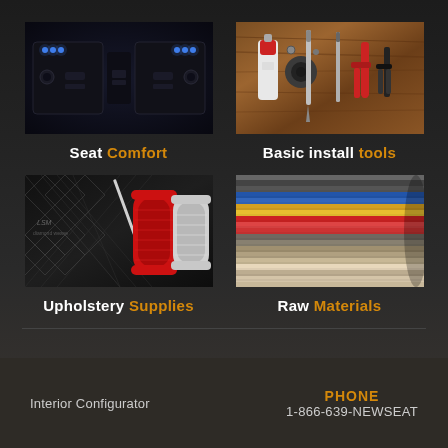[Figure (photo): Car seat USB/charging ports with blue LED lights on dark background]
Seat Comfort
[Figure (photo): Automotive installation tools laid out on wood surface including pliers, screwdrivers, lubricant]
Basic install tools
[Figure (photo): Upholstery supplies including patterned fabric, red and white thread spools]
Upholstery Supplies
[Figure (photo): Raw materials showing colorful fabric/leather strips in multiple colors including red, yellow, blue, grey]
Raw Materials
Interior Configurator
PHONE
1-866-639-NEWSEAT